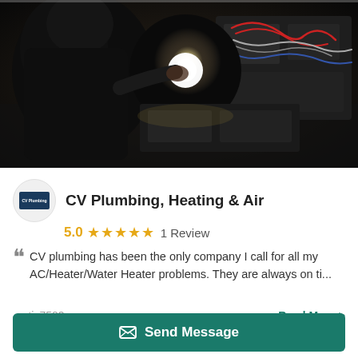[Figure (photo): Dark image of a technician/worker in dark clothing working on HVAC or plumbing equipment with a bright light illuminating the work area. Wiring and mechanical components visible.]
CV Plumbing, Heating & Air
5.0 ★★★★★ 1 Review
CV plumbing has been the only company I call for all my AC/Heater/Water Heater problems. They are always on ti...
– etiz7583
Read More >
Haverstraw, NY 10927
Send Message